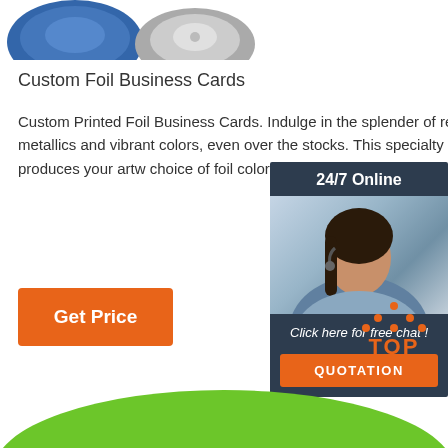[Figure (photo): Product images of blue and silver foil discs at top of page]
Custom Foil Business Cards
Custom Printed Foil Business Cards. Indulge in the splender of reflective metallics and vibrant colors, even over the stocks. This specialty technique produces your artw choice of foil color stamped onto the card for stunnin
[Figure (illustration): Get Price orange button]
[Figure (infographic): 24/7 Online chat widget with customer service representative photo, 'Click here for free chat!' text, and QUOTATION orange button]
[Figure (illustration): TOP back-to-top button with orange triangle dots]
[Figure (illustration): Green arc/curve at bottom of page]